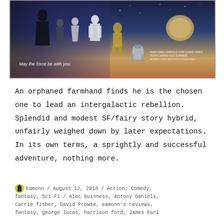[Figure (photo): Star Wars movie poster showing characters with text 'May the force be with you' and cast/crew credits on the right side]
An orphaned farmhand finds he is the chosen one to lead an intergalactic rebellion. Splendid and modest SF/fairy story hybrid, unfairly weighed down by later expectations. In its own terms, a sprightly and successful adventure, nothing more.
Eamonn / August 12, 2018 / Action, Comedy, fantasy, Sci-Fi / Alec Guinness, Antony Daniels, carrie fisher, David Prowse, eamonn's reviews, fantasy, george lucas, harrison ford, James Earl